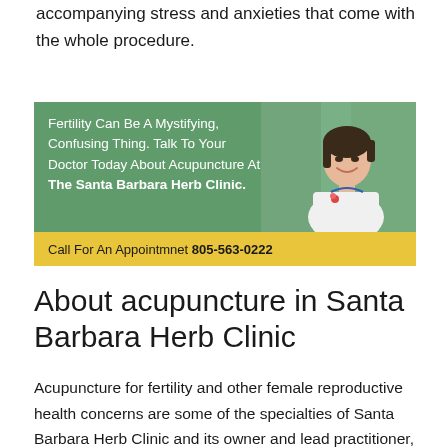accompanying stress and anxieties that come with the whole procedure.
[Figure (infographic): Advertisement banner for Santa Barbara Herb Clinic. Green background with white text: 'Fertility Can Be A Mystifying, Confusing Thing. Talk To Your Doctor Today About Acupuncture At The Santa Barbara Herb Clinic.' Yellow bottom bar with text: 'Call For An Appointmnet 805-563-0222'. Photo of smiling Asian woman in white coat on right side.]
About acupuncture in Santa Barbara Herb Clinic
Acupuncture for fertility and other female reproductive health concerns are some of the specialties of Santa Barbara Herb Clinic and its owner and lead practitioner, Tram Pham, L.Ac. She has inherited the clinic's operations from the late